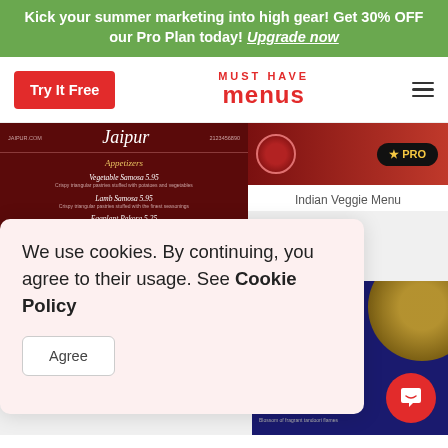Kick your summer marketing into high gear! Get 30% OFF our Pro Plan today! Upgrade now
Try It Free
MUST HAVE menus
[Figure (screenshot): Jaipur restaurant menu card with dark red background showing Appetizers section]
[Figure (screenshot): Indian Veggie Menu card with PRO badge on red gradient header]
Indian Veggie Menu
[Figure (screenshot): Blue/purple Indori menu card with gold mandala decoration]
We use cookies. By continuing, you agree to their usage. See Cookie Policy
Agree